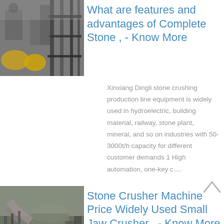[Figure (photo): Industrial stone crushing machine equipment with metal components, yellow circular discs visible]
What are features and advantages of Complete Stone , - Know More
Xinxiang Dingli stone crushing production line equipment is widely used in hydroelectric, building material, railway, stone plant, mineral, and so on industries with 50-3000t/h capacity for different customer demands 1 High automation, one-key c....
[Figure (photo): Large industrial stone crusher machine with pipes and scaffolding structure]
Stone Crusher Machine Price Widely Used Small Jaw Crusher , - Know More
Stone Crusher Machine Price Widely Used Small Jaw Crusher For Sale Stationary Mobile Jaw Crusher Plant Find Complete...